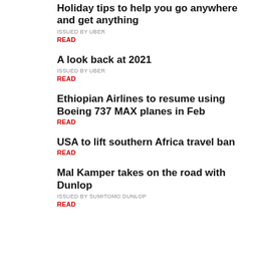Holiday tips to help you go anywhere and get anything
ISSUED BY UBER
READ
A look back at 2021
ISSUED BY UBER
READ
Ethiopian Airlines to resume using Boeing 737 MAX planes in Feb
READ
USA to lift southern Africa travel ban
READ
Mal Kamper takes on the road with Dunlop
ISSUED BY SUMITOMO DUNLOP
READ